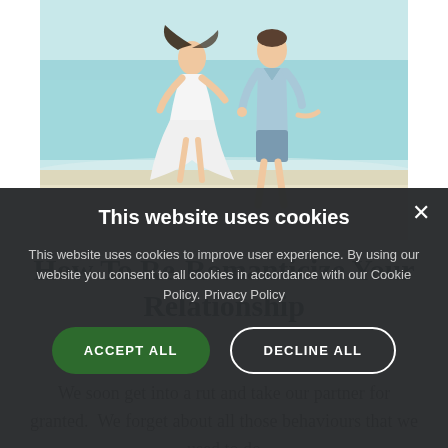[Figure (photo): A couple in wedding/beach attire running on a sandy beach with turquoise ocean water in the background. The woman wears a flowing white dress and the man wears a light blue shirt.]
How To Re-Romanticize Your Relationship
We soon get into a rut and take our partner for granted.  We forget about all those behaviours that we used to do
This website uses cookies
This website uses cookies to improve user experience. By using our website you consent to all cookies in accordance with our Cookie Policy. Privacy Policy